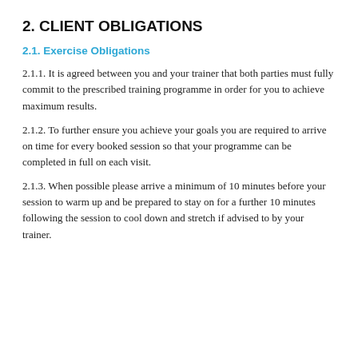2. CLIENT OBLIGATIONS
2.1. Exercise Obligations
2.1.1. It is agreed between you and your trainer that both parties must fully commit to the prescribed training programme in order for you to achieve maximum results.
2.1.2. To further ensure you achieve your goals you are required to arrive on time for every booked session so that your programme can be completed in full on each visit.
2.1.3. When possible please arrive a minimum of 10 minutes before your session to warm up and be prepared to stay on for a further 10 minutes following the session to cool down and stretch if advised to by your trainer.